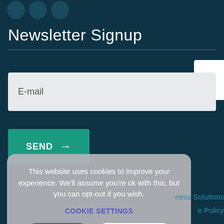[Figure (illustration): Three partially visible gray circles representing social media icon buttons at the top left]
Newsletter Signup
[Figure (illustration): White phone handset icon on a white rectangular button at top right]
E-mail
SEND →
This website uses cookies to improve your experience. We'll assume you're ok with this, but you can opt-out if you wish.
COOKIE SETTINGS
OK, I AGREE
COOKIE POLICY
ness Solutions
e Policy